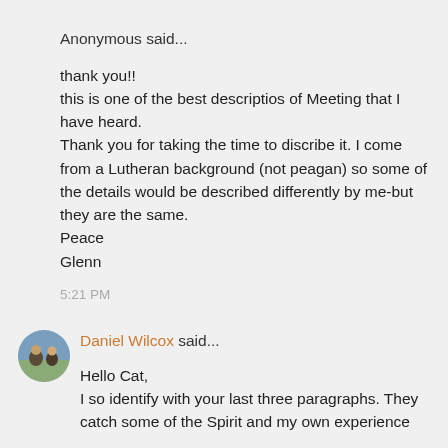Anonymous said...
thank you!!
this is one of the best descriptios of Meeting that I have heard.
Thank you for taking the time to discribe it. I come from a Lutheran background (not peagan) so some of the details would be described differently by me-but they are the same.
Peace
Glenn
5:21 PM
Daniel Wilcox said...
Hello Cat,
I so identify with your last three paragraphs. They catch some of the Spirit and my own experience